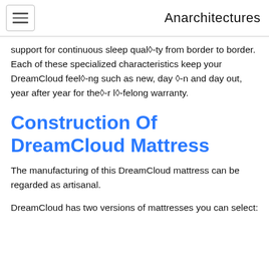Anarchitectures
support for continuous sleep qual◊-ty from border to border. Each of these specialized characteristics keep your DreamCloud feel◊-ng such as new, day ◊-n and day out, year after year for the◊-r l◊-felong warranty.
Construction Of DreamCloud Mattress
The manufacturing of this DreamCloud mattress can be regarded as artisanal.
DreamCloud has two versions of mattresses you can select: